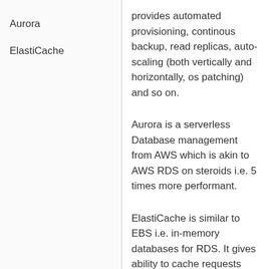| Aurora
ElastiCache | provides automated provisioning, continous backup, read replicas, auto-scaling (both vertically and horizontally, os patching) and so on.

Aurora is a serverless Database management from AWS which is akin to AWS RDS on steroids i.e. 5 times more performant.

ElastiCache is similar to EBS i.e. in-memory databases for RDS. It gives ability to cache requests and reduce the latency. |